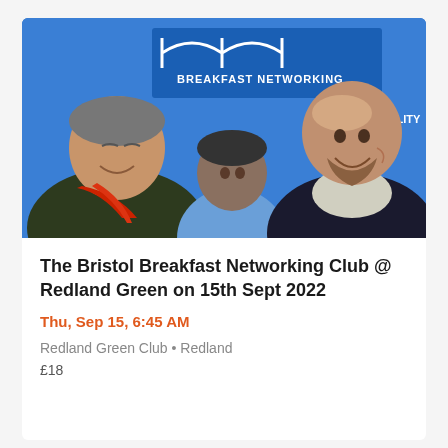[Figure (photo): Three men at a breakfast networking event, smiling and conversing in front of a blue banner reading 'BREAKFAST NETWORKING'. The man on the left wears a dark jacket with a red scarf, the man in the middle wears a blue shirt, and the man on the right is bald with a beard wearing a dark suit.]
The Bristol Breakfast Networking Club @ Redland Green on 15th Sept 2022
Thu, Sep 15, 6:45 AM
Redland Green Club • Redland
£18